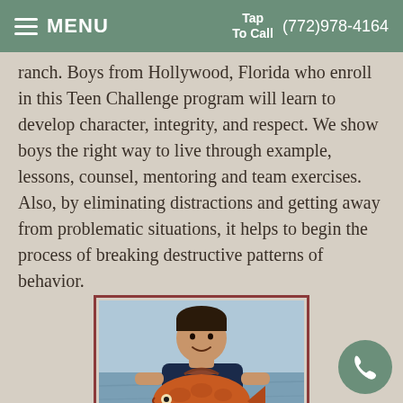MENU  Tap To Call  (772)978-4164
ranch. Boys from Hollywood, Florida who enroll in this Teen Challenge program will learn to develop character, integrity, and respect. We show boys the right way to live through example, lessons, counsel, mentoring and team exercises. Also, by eliminating distractions and getting away from problematic situations, it helps to begin the process of breaking destructive patterns of behavior.
[Figure (photo): A young man smiling on a boat, holding a large red/orange fish, with water visible in the background.]